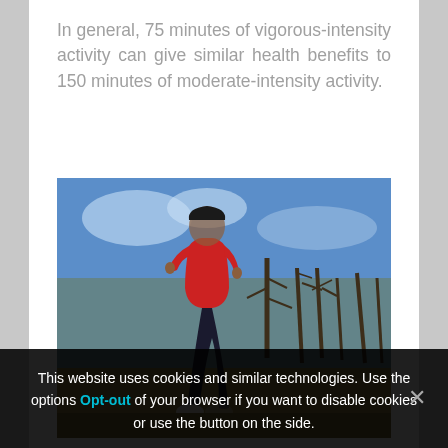In general, 75 minutes of vigorous-intensity activity can give similar health benefits to 150 minutes of moderate-intensity activity.
[Figure (photo): A person in a red top and black leggings running outdoors along a trail with bare trees and a blue sky in the background.]
This website uses cookies and similar technologies. Use the options Opt-out of your browser if you want to disable cookies or use the button on the side.